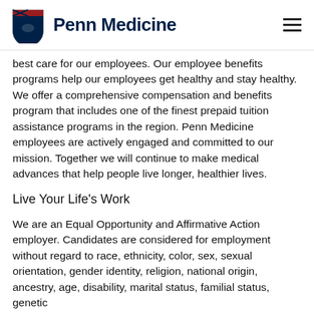Penn Medicine
best care for our employees. Our employee benefits programs help our employees get healthy and stay healthy. We offer a comprehensive compensation and benefits program that includes one of the finest prepaid tuition assistance programs in the region. Penn Medicine employees are actively engaged and committed to our mission. Together we will continue to make medical advances that help people live longer, healthier lives.
Live Your Life's Work
We are an Equal Opportunity and Affirmative Action employer. Candidates are considered for employment without regard to race, ethnicity, color, sex, sexual orientation, gender identity, religion, national origin, ancestry, age, disability, marital status, familial status, genetic